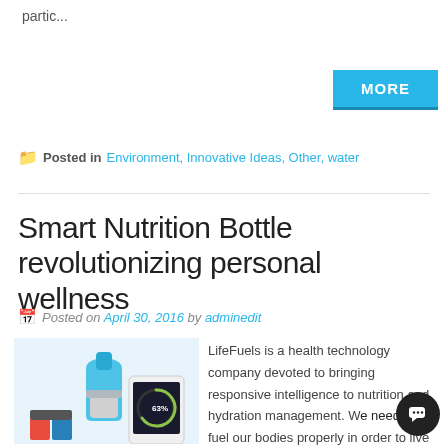partic...
MORE
Posted in Environment, Innovative Ideas, Other, water
Smart Nutrition Bottle revolutionizing personal wellness
Posted on April 30, 2016 by adminedit
[Figure (photo): Smart Nutrition Bottle product photo with app showing 63% on screen]
LifeFuels is a health technology company devoted to bringing responsive intelligence to nutrition and hydration management. We need to fuel our bodies properly in order to live life well. But nutrition is